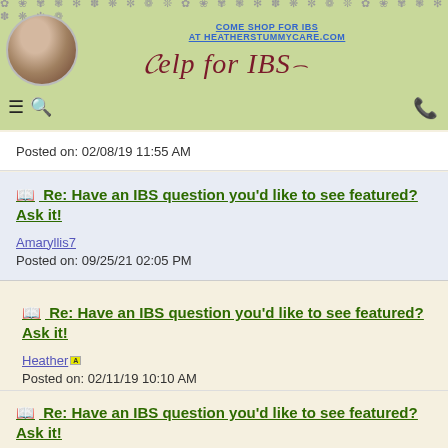Help for IBS - COME SHOP FOR IBS AT HEATHERSTUMMYCARE.COM
Posted on: 02/08/19 11:55 AM
Re: Have an IBS question you'd like to see featured? Ask it!
Amaryllis7
Posted on: 09/25/21 02:05 PM
Re: Have an IBS question you'd like to see featured? Ask it!
Heather
Posted on: 02/11/19 10:10 AM
Re: Have an IBS question you'd like to see featured? Ask it!